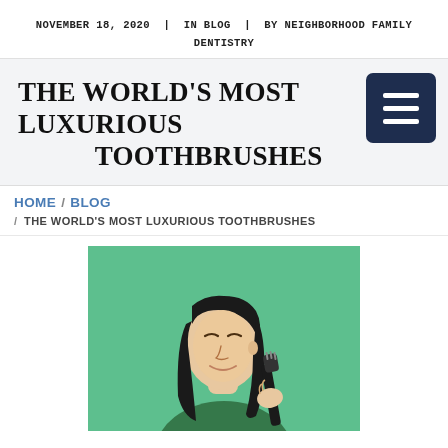NOVEMBER 18, 2020  |  IN BLOG  |  BY NEIGHBORHOOD FAMILY DENTISTRY
THE WORLD'S MOST LUXURIOUS TOOTHBRUSHES
HOME / BLOG
/ THE WORLD'S MOST LUXURIOUS TOOTHBRUSHES
[Figure (photo): A young Asian woman with closed eyes and a slight smile, holding a dark toothbrush, against a mint/teal green background.]